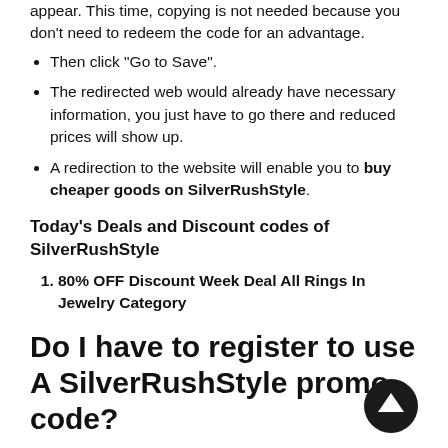appear. This time, copying is not needed because you don't need to redeem the code for an advantage.
Then click “Go to Save”.
The redirected web would already have necessary information, you just have to go there and reduced prices will show up.
A redirection to the website will enable you to buy cheaper goods on SilverRushStyle.
Today’s Deals and Discount codes of SilverRushStyle
80% OFF Discount Week Deal All Rings In Jewelry Category
Do I have to register to use A SilverRushStyle promo code?
Not really! The use of promotional codes in promotional discount codes does not require registration. However, it is